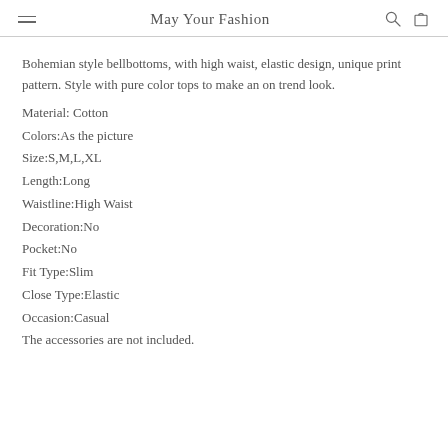May Your Fashion
Bohemian style bellbottoms, with high waist, elastic design, unique print pattern. Style with pure color tops to make an on trend look.
Material: Cotton
Colors:As the picture
Size:S,M,L,XL
Length:Long
Waistline:High Waist
Decoration:No
Pocket:No
Fit Type:Slim
Close Type:Elastic
Occasion:Casual
The accessories are not included.